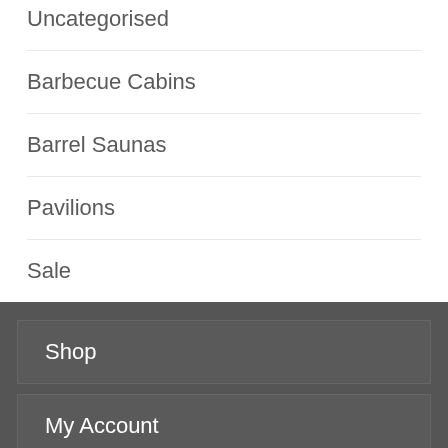Uncategorised
Barbecue Cabins
Barrel Saunas
Pavilions
Sale
Shop
My Account
Contact Us
Terms & Conditions